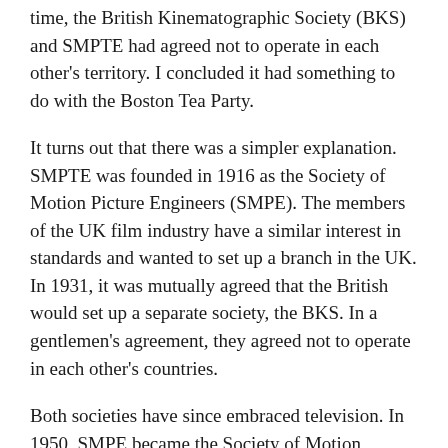time, the British Kinematographic Society (BKS) and SMPTE had agreed not to operate in each other's territory. I concluded it had something to do with the Boston Tea Party.
It turns out that there was a simpler explanation. SMPTE was founded in 1916 as the Society of Motion Picture Engineers (SMPE). The members of the UK film industry have a similar interest in standards and wanted to set up a branch in the UK. In 1931, it was mutually agreed that the British would set up a separate society, the BKS. In a gentlemen's agreement, they agreed not to operate in each other's countries.
Both societies have since embraced television. In 1950, SMPE became the Society of Motion Picture and Television Engineers (SMPTE) so that it could cover